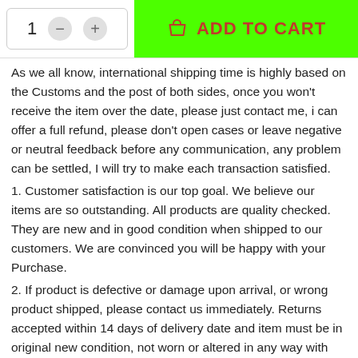[Figure (other): Add to cart UI element with quantity selector (showing '1' with minus and plus buttons) and a bright green ADD TO CART button with shopping bag icon]
As we all know, international shipping time is highly based on the Customs and the post of both sides, once you won't receive the item over the date, please just contact me, i can offer a full refund, please don't open cases or leave negative or neutral feedback before any communication, any problem can be settled, I will try to make each transaction satisfied.
1. Customer satisfaction is our top goal. We believe our items are so outstanding. All products are quality checked. They are new and in good condition when shipped to our customers. We are convinced you will be happy with your Purchase.
2. If product is defective or damage upon arrival, or wrong product shipped, please contact us immediately. Returns accepted within 14 days of delivery date and item must be in original new condition, not worn or altered in any way with attached tags & wrap. Otherwise deal is final. Return shipping must be paid by buyer.
3. Please contact us first if you have any problems/questions/concerns. We will be happy to resolve any